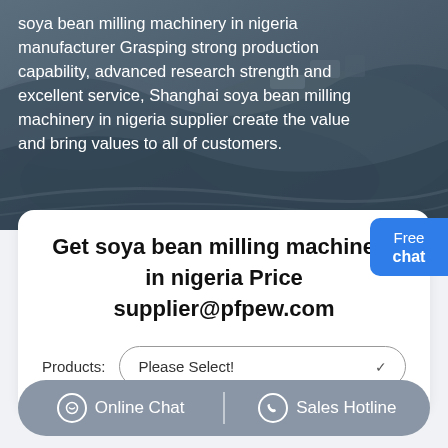[Figure (photo): Aerial view of a mining or quarry site with heavy machinery, used as a hero background image.]
soya bean milling machinery in nigeria manufacturer Grasping strong production capability, advanced research strength and excellent service, Shanghai soya bean milling machinery in nigeria supplier create the value and bring values to all of customers.
Get soya bean milling machinery in nigeria Price supplier@pfpew.com
Products: Please Select!
Online Chat | Sales Hotline